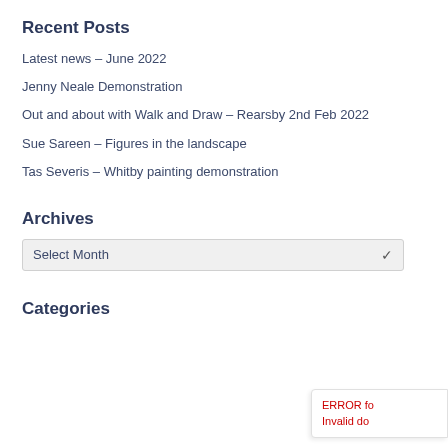Recent Posts
Latest news – June 2022
Jenny Neale Demonstration
Out and about with Walk and Draw – Rearsby 2nd Feb 2022
Sue Sareen – Figures in the landscape
Tas Severis – Whitby painting demonstration
Archives
Select Month
Categories
ERROR for site owner: Invalid do